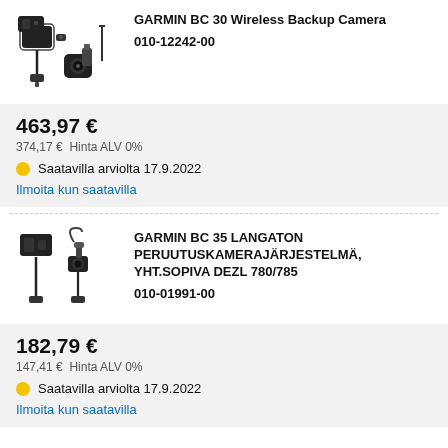[Figure (photo): Garmin BC 30 Wireless Backup Camera product image showing camera kit components]
GARMIN BC 30 Wireless Backup Camera
010-12242-00
463,97 €
374,17 €  Hinta ALV 0%
Saatavilla arviolta 17.9.2022
Ilmoita kun saatavilla
[Figure (photo): Garmin BC 35 Langaton Peruutuskamerajärjestelmä product image showing camera kit]
GARMIN BC 35 LANGATON PERUUTUSKAMERAJÄRJESTELMÄ, YHT.SOPIVA DEZL 780/785
010-01991-00
182,79 €
147,41 €  Hinta ALV 0%
Saatavilla arviolta 17.9.2022
Ilmoita kun saatavilla